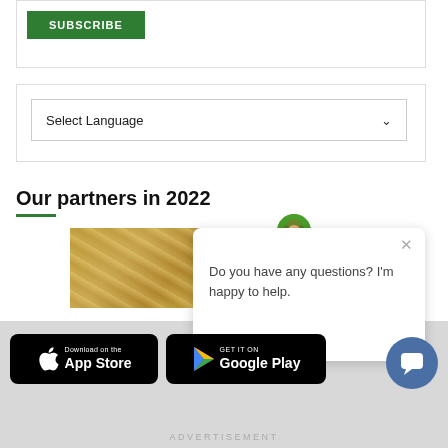[Figure (screenshot): Subscribe button (green) inside a white bordered box]
[Figure (screenshot): Select Language dropdown inside a white bordered box]
Our partners in 2022
[Figure (photo): Close-up texture image of a golden/tan woven or natural material]
[Figure (illustration): Chat popup with farmer avatar and message: Do you have any questions? I'm happy to help. With X close button.]
[Figure (screenshot): Download on the App Store button (black)]
[Figure (screenshot): GET IT ON Google Play button (black)]
[Figure (illustration): Dark blue chat bubble circle icon]
ADVERTISEMENT